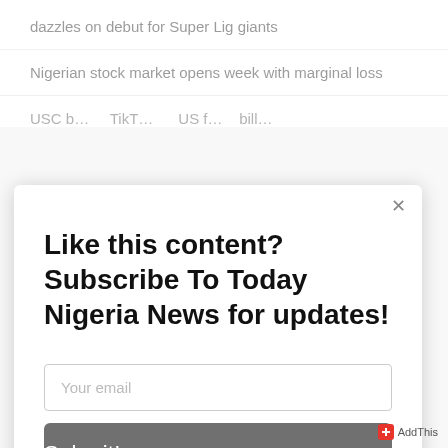dazzles on debut for Super Lig giants
Nigerian stock market opens week with marginal loss
USC b... TikT... US f... bill...
×
Like this content? Subscribe To Today Nigeria News for updates!
Your email
Submit!
AddThis